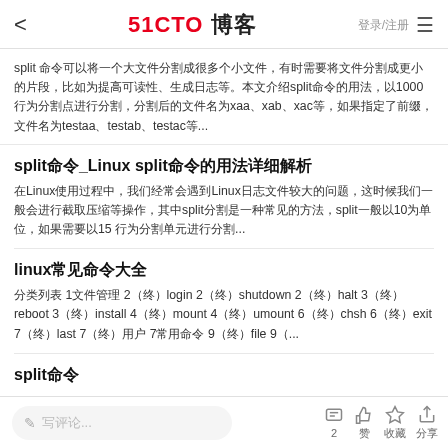< 51CTO 博客 登录/注册 ≡
split 命令可以将一个大文件分割成很多个小文件，有时需要将文件分割成更小的片段，比如为提高可读性、生成日志等。本文介绍split命令的用法，以1000行为分割点进行分割，分割后的文件名为xaa、xab、xac等，如果指定了前缀，文件名为testaa、testab、testac等...
split命令_Linux split命令的用法详细解析
在Linux使用过程中，我们经常会遇到Linux日志文件较大的问题，这时候我们一般会进行截取压缩等操作，其中split分割是一种常见的方法，split一般以10为单位，如果需要以15 行为分割单元进行分割...
linux常见命令大全
分类列表 1文件管理 2（终）login 2（终）shutdown 2（终）halt 3（终）reboot 3（终）install 4（终）mount 4（终）umount 6（终）chsh 6（终）exit 7（终）last 7（终）用户 7常用命令 9（终）file 9（...
split命令
✏ 写评论...   💬 2  👍 赞  ☆ 收藏  ↗ 分享